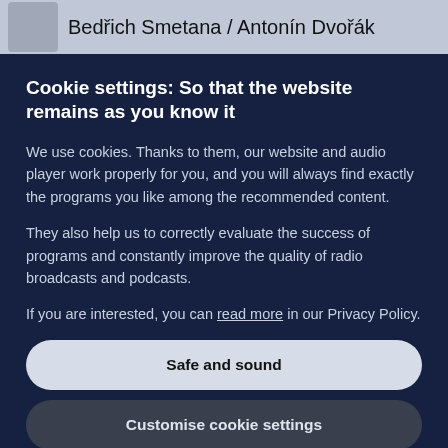Adam Plachetka / Bedřich Smetana / Antonín Dvořák
Cookie settings: So that the website remains as you know it
We use cookies. Thanks to them, our website and audio player work properly for you, and you will always find exactly the programs you like among the recommended content.
They also help us to correctly evaluate the success of programs and constantly improve the quality of radio broadcasts and podcasts.
If you are interested, you can read more in our Privacy Policy.
Safe and sound
Customise cookie settings